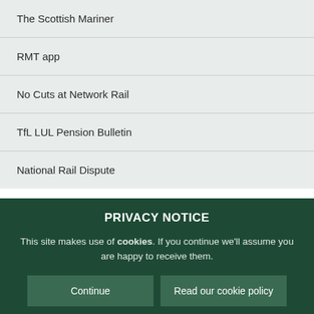The Scottish Mariner
RMT app
No Cuts at Network Rail
TfL LUL Pension Bulletin
National Rail Dispute
PRIVACY NOTICE
This site makes use of cookies. If you continue we'll assume you are happy to receive them.
Continue
Read our cookie policy